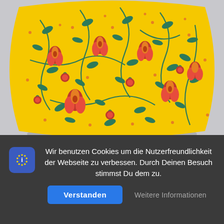[Figure (photo): A decorative throw pillow with a bright yellow background featuring a folk art floral pattern with red tulips, orange pomegranates, green leaves and small orange/red flowers. The pillow is photographed against a light grey background.]
Wir benutzen Cookies um die Nutzerfreundlichkeit der Webseite zu verbessen. Durch Deinen Besuch stimmst Du dem zu.
Verstanden
Weitere Informationen